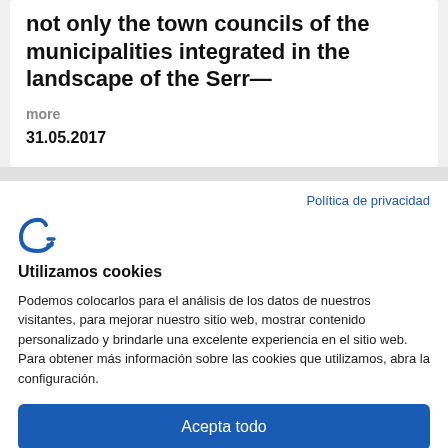not only the town councils of the municipalities integrated in the landscape of the Serr—
more
31.05.2017
Política de privacidad
[Figure (logo): Curved letter F logo in blue, resembling a cookie consent manager icon]
Utilizamos cookies
Podemos colocarlos para el análisis de los datos de nuestros visitantes, para mejorar nuestro sitio web, mostrar contenido personalizado y brindarle una excelente experiencia en el sitio web. Para obtener más información sobre las cookies que utilizamos, abra la configuración.
Acepta todo
Rechaza
No, ajuste